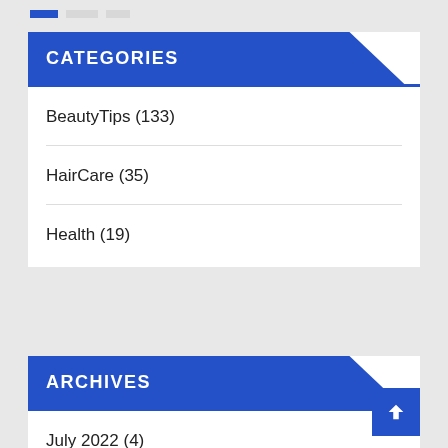CATEGORIES
BeautyTips (133)
HairCare (35)
Health (19)
ARCHIVES
July 2022 (4)